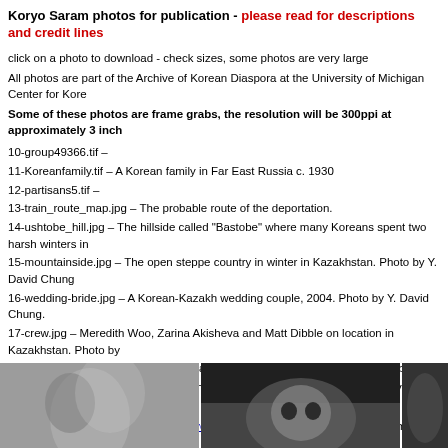Koryo Saram photos for publication - please read for descriptions and credit lines
click on a photo to download - check sizes, some photos are very large
All photos are part of the Archive of Korean Diaspora at the University of Michigan Center for Kore
Some of these photos are frame grabs, the resolution will be 300ppi at approximately 3 inch
10-group49366.tif –
11-Koreanfamily.tif – A Korean family in Far East Russia c. 1930
12-partisans5.tif –
13-train_route_map.jpg – The probable route of the deportation.
14-ushtobe_hill.jpg – The hillside called "Bastobe" where many Koreans spent two harsh winters in
15-mountainside.jpg – The open steppe country in winter in Kazakhstan. Photo by Y. David Chung
16-wedding-bride.jpg – A Korean-Kazakh wedding couple, 2004. Photo by Y. David Chung.
17-crew.jpg – Meredith Woo, Zarina Akisheva and Matt Dibble on location in Kazakhstan. Photo by
18-gkim&ydchung.jpg – German Kim and Y. David Chung. Photo by Matt Dibble.
19-train-matt.jpg – Matt Dibble shooting along the deportation route. Photo by Y. David Chung.
Please contact Y. David Chung at davchung@umich.edu for any further information.
Credit Lines:
For all photos - please use - © Koryo Saram The Unreliable People
Acknowledgements -
Photos 01 - 05 - Still frames from "Kolkhoze Avant Garde", a 1946 Soviet film about a Korean colle
The Central State Archive for Photography and Film Documents of the Republic of Kazakhstan
[Figure (photo): Black and white photo, person looking upward]
[Figure (photo): Black and white close-up photo of a face]
[Figure (photo): Black and white photo, partial view]